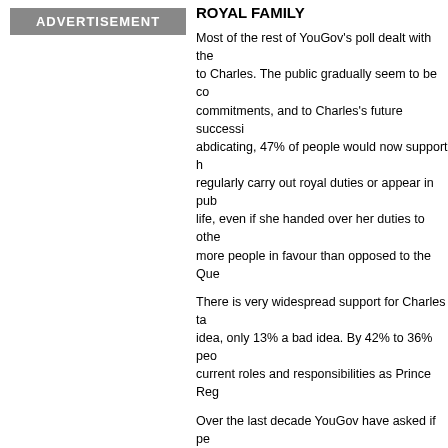[Figure (other): Advertisement banner placeholder on the left column]
ROYAL FAMILY
Most of the rest of YouGov's poll dealt with the succession to Charles. The public gradually seem to be coming to terms with his commitments, and to Charles's future succession. Rather than abdicating, 47% of people would now support her continuing to regularly carry out royal duties or appear in public life, even if she handed over her duties to others – more people in favour than opposed to the Que...
There is very widespread support for Charles taking over – idea, only 13% a bad idea. By 42% to 36% peo... current roles and responsibilities as Prince Reg...
Over the last decade YouGov have asked if peo... crown skip a generation to William. Having see... public now seen reconciled to Charles as King,... saying it should skip a generation. It's the first t... over 50%. There has not been a similar increas... should have the title of Queen, a figure that has...
ICM in SCOTLAND
There is also a new ICM poll on the Scottish re... Scottish referendum polling, normally notable f...